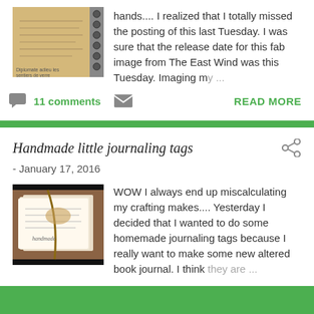hands.... I realized that I totally missed the posting of this last Tuesday.  I was sure that the release date for this fab image from The East Wind was this Tuesday.  Imaging my ...
[Figure (photo): Small thumbnail image of a handwritten notebook with text 'Diplomate adieu les sentiers de verre']
11 comments
READ MORE
Handmade little journaling tags
- January 17, 2016
[Figure (photo): Photo of handmade journaling tags made from book pages, tied with twine and decorated]
WOW I always end up miscalculating my crafting makes.... Yesterday I decided that I wanted to do some homemade journaling tags because I really want to make some new altered book journal.  I think they are ...